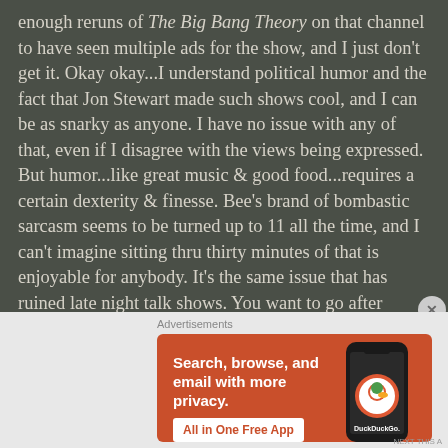enough reruns of The Big Bang Theory on that channel to have seen multiple ads for the show, and I just don't get it. Okay okay...I understand political humor and the fact that Jon Stewart made such shows cool, and I can be as snarky as anyone. I have no issue with any of that, even if I disagree with the views being expressed. But humor...like great music & good food...requires a certain dexterity & finesse. Bee's brand of bombastic sarcasm seems to be turned up to 11 all the time, and I can't imagine sitting thru thirty minutes of that is enjoyable for anybody. It's the same issue that has ruined late night talk shows. You want to go after President Trump?? Okay, that's fair. But full throttle?? Every day?? At some
Advertisements
[Figure (infographic): DuckDuckGo advertisement banner on orange background with phone graphic. Text reads: Search, browse, and email with more privacy. All in One Free App. DuckDuckGo logo shown on phone screen.]